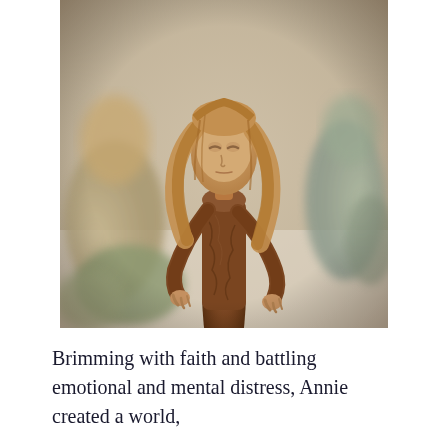[Figure (photo): Close-up photograph of a clay or ceramic sculptural figure of a girl with long wavy hair, closed or downcast eyes, textured brown/reddish body, arms hanging at sides with small hands. Other similar sculpted figures are visible blurred in the background on a white surface.]
Brimming with faith and battling emotional and mental distress, Annie created a world,